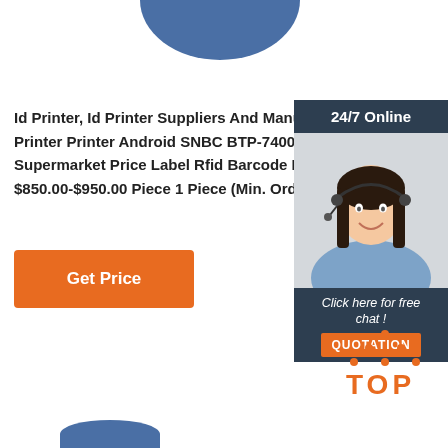[Figure (illustration): Partial blue circle/logo visible at top center of page]
Id Printer, Id Printer Suppliers And Manufacturers At Printer Printer Android SNBC BTP-7400 Long Service Supermarket Price Label Rfid Barcode Printer Android $850.00-$950.00 Piece 1 Piece (Min. Order)
[Figure (infographic): Right side chat widget panel with dark navy background header showing '24/7 Online', photo of smiling woman with headset, footer text 'Click here for free chat!' and orange QUOTATION button]
[Figure (logo): Orange TOP logo with dotted triangle above the text at bottom right]
Get Price
[Figure (illustration): Partial blue shape at bottom center, partially cut off]